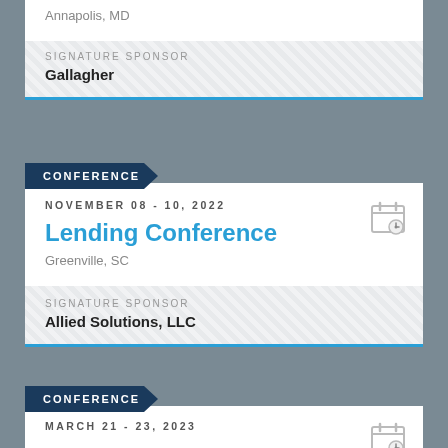Annapolis, MD
SIGNATURE SPONSOR
Gallagher
CONFERENCE
NOVEMBER 08 - 10, 2022
Lending Conference
Greenville, SC
SIGNATURE SPONSOR
Allied Solutions, LLC
CONFERENCE
MARCH 21 - 23, 2023